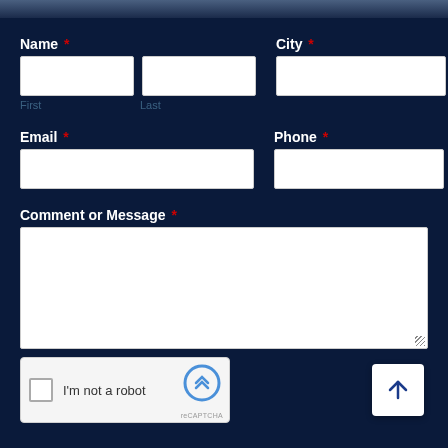Name *
City *
First
Last
Email *
Phone *
Comment or Message *
I'm not a robot
reCAPTCHA